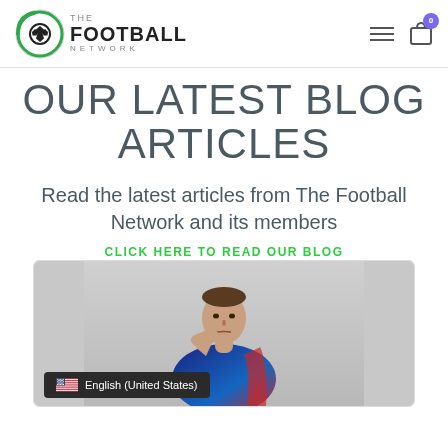The Football Network
OUR LATEST BLOG ARTICLES
Read the latest articles from The Football Network and its members
CLICK HERE TO READ OUR BLOG
[Figure (photo): A man in a blue and red sports polo shirt with hand on chin in a thinking pose, shown from waist up against a light grey background. An English (United States) language selector overlay appears at the bottom left of the card.]